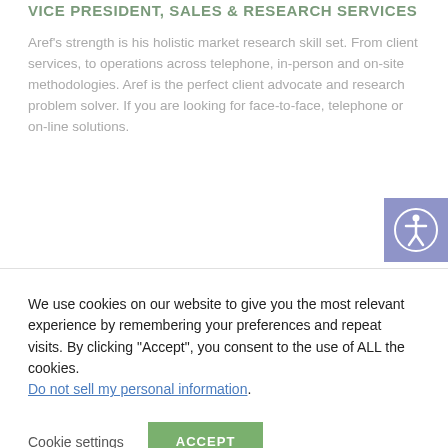VICE PRESIDENT, SALES & RESEARCH SERVICES
Aref's strength is his holistic market research skill set. From client services, to operations across telephone, in-person and on-site methodologies. Aref is the perfect client advocate and research problem solver. If you are looking for face-to-face, telephone or on-line solutions.
[Figure (illustration): Accessibility icon button — circular white person figure on purple/blue square background]
We use cookies on our website to give you the most relevant experience by remembering your preferences and repeat visits. By clicking "Accept", you consent to the use of ALL the cookies.
Do not sell my personal information.
Cookie settings
ACCEPT